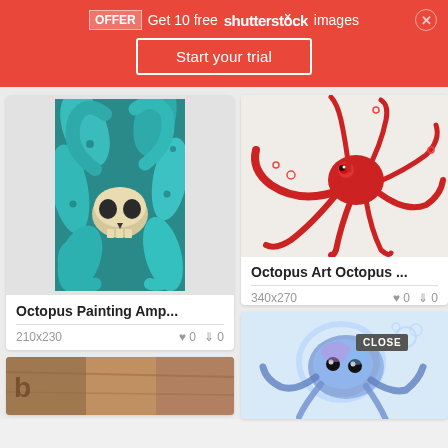OFFER  Get 10 free shutterstock images
Start your trial
[Figure (photo): Teal/cyan octopus tentacles wrapped around a skull - painted artwork]
Octopus Painting Amp...
210x230  ♥ 0  ⬇ 0
[Figure (photo): Red octopus art illustration on white background]
Octopus Art Octopus ...
340x270  ♥ 0  ⬇ 0
[Figure (photo): Partial view of a brown textured octopus painting - bottom left card]
[Figure (photo): Blue/purple iridescent luminous octopus art with CLOSE badge - bottom right card]